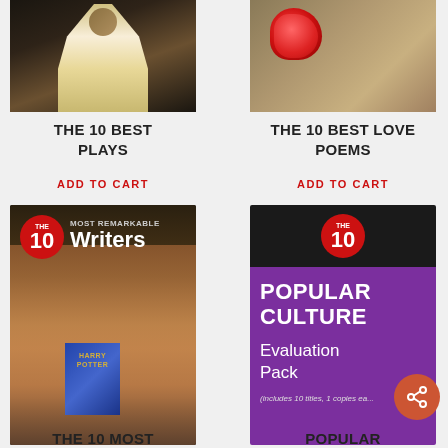[Figure (photo): Theatre costume performer in ornate white/gold period dress on dark stage]
[Figure (photo): Red rose on handwritten script/poetry background in sepia tones]
THE 10 BEST PLAYS
THE 10 BEST LOVE POEMS
ADD TO CART
ADD TO CART
[Figure (photo): Book cover: The 10 Most Remarkable Writers - woman holding Harry Potter book]
[Figure (photo): Book cover: The 10 Popular Culture Evaluation Pack - purple cover with THE 10 badge]
THE 10 MOST
POPULAR